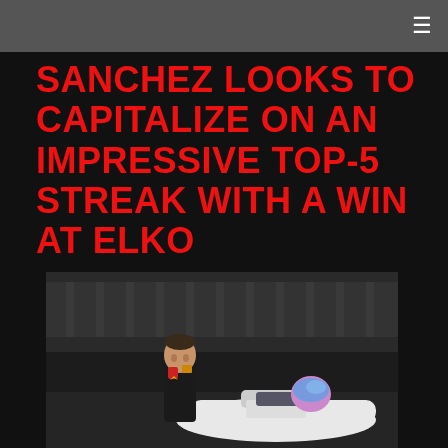☰
SANCHEZ LOOKS TO CAPITALIZE ON AN IMPRESSIVE TOP-5 STREAK WITH A WIN AT ELKO
[Figure (photo): A young racing driver in a black racing suit stands next to a white race car, with a colorful helmet resting on the car. A racetrack grandstand is visible in the background.]